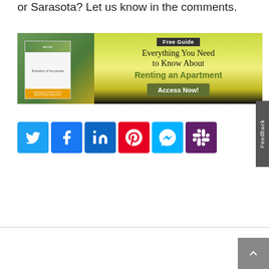or Sarasota? Let us know in the comments.
[Figure (infographic): Free Guide banner ad: Everything You Need to Know About Renting an Apartment. Access Now! button. Shows a book cover image on the left side.]
[Figure (infographic): Row of 6 social media share buttons: Twitter (blue bird), Facebook (blue f), LinkedIn (blue in), Pinterest (red P), Facebook Messenger (blue lightning), Slack (purple hash)]
[Figure (other): Back to top button (gray chevron up arrow) in bottom right corner]